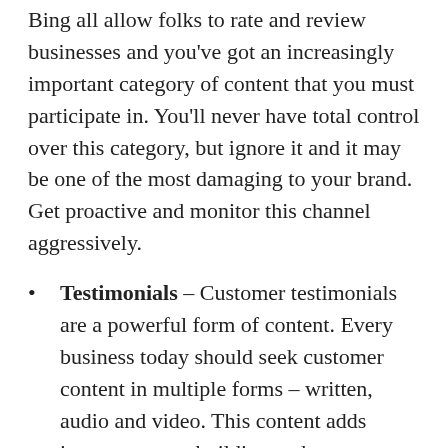Bing all allow folks to rate and review businesses and you've got an increasingly important category of content that you must participate in. You'll never have total control over this category, but ignore it and it may be one of the most damaging to your brand. Get proactive and monitor this channel aggressively.
Testimonials – Customer testimonials are a powerful form of content. Every business today should seek customer content in multiple forms – written, audio and video. This content adds important trust building endorsements and makes for great brand building assets out there on Google and YouTube.
Content that educates